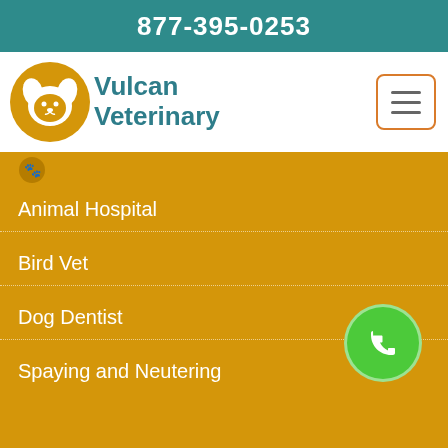877-395-0253
[Figure (logo): Vulcan Veterinary logo — golden dog/cat head silhouette with text 'Vulcan Veterinary' in teal]
Animal Hospital
Bird Vet
Dog Dentist
Spaying and Neutering
CONTACT US
Maryland
877-395-0253